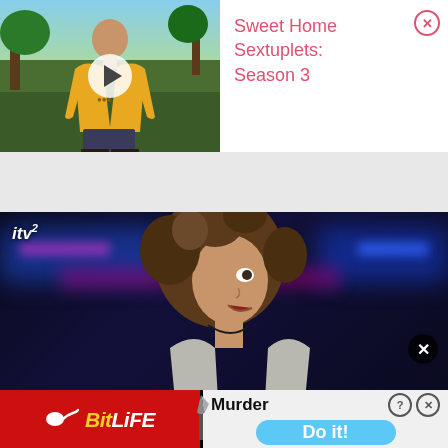[Figure (screenshot): Top advertisement banner showing a man in a yellow shirt outdoors with a play button overlay, next to text reading 'Sweet Home Sextuplets: Season 3' in pink/red, with a pink circle X close button]
Sweet Home Sextuplets: Season 3
[Figure (screenshot): ITV2 TV show screenshot showing a young man with curly hair in a nightclub/villa setting with blue and pink neon lights, ITV2 logo in top left, and a close (X) button overlay at bottom right]
[Figure (screenshot): BitLife mobile game advertisement at the bottom showing the BitLife logo in yellow and white on red background, a knife icon, 'Murder' text, help and close icons, and a 'Do it!' button on a light blue pill-shaped button]